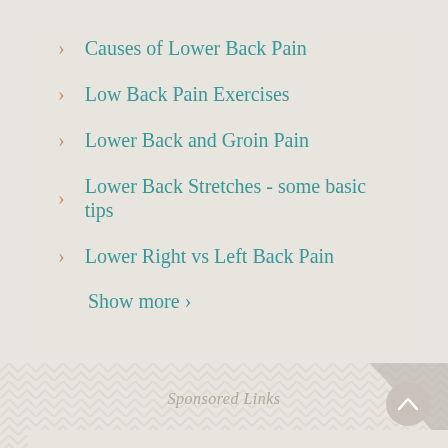Causes of Lower Back Pain
Low Back Pain Exercises
Lower Back and Groin Pain
Lower Back Stretches - some basic tips
Lower Right vs Left Back Pain
Show more ›
Sponsored Links